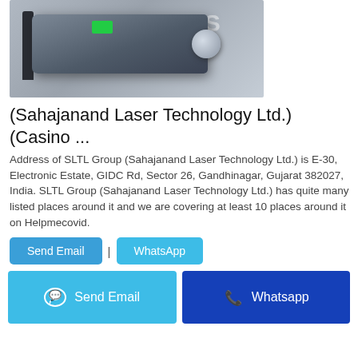[Figure (photo): Photo of a laser device (SLTL/Aurora Laser product) — a dark metallic rectangular laser unit with a green component on top and a cylindrical nozzle on the right side, mounted on a bracket. Watermark text 'AURORA LAS' visible in upper portion.]
(Sahajanand Laser Technology Ltd.) (Casino ...
Address of SLTL Group (Sahajanand Laser Technology Ltd.) is E-30, Electronic Estate, GIDC Rd, Sector 26, Gandhinagar, Gujarat 382027, India. SLTL Group (Sahajanand Laser Technology Ltd.) has quite many listed places around it and we are covering at least 10 places around it on Helpmecovid.
Send Email
WhatsApp
Send Email
Whatsapp